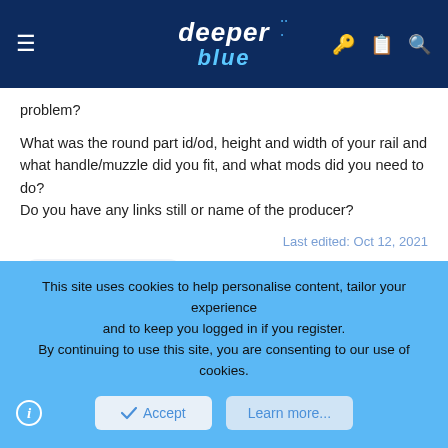deeper blue
problem?
What was the round part id/od, height and width of your rail and what handle/muzzle did you fit, and what mods did you need to do?
Do you have any links still or name of the producer?
Last edited: Oct 12, 2021
Penguin Spearo
musubi
Active Member
This site uses cookies to help personalise content, tailor your experience and to keep you logged in if you register.
By continuing to use this site, you are consenting to our use of cookies.